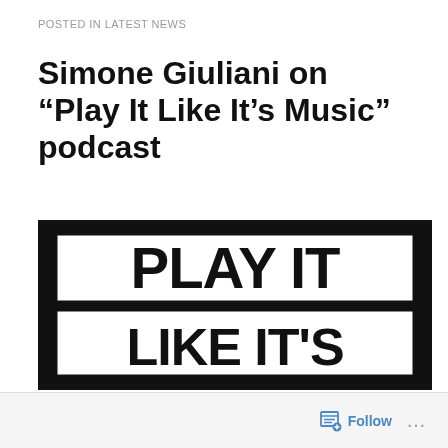POSTED IN LATEST NEWS
Simone Giuliani on “Play It Like It’s Music” podcast
[Figure (logo): Black and white logo image showing the text 'PLAY IT LIKE IT'S' in large bold block letters. The logo has a black background with a white rectangular border, text appearing in two rows: 'PLAY IT' on top and 'LIKE IT'S' below, with heavy black sans-serif font.]
Follow ...